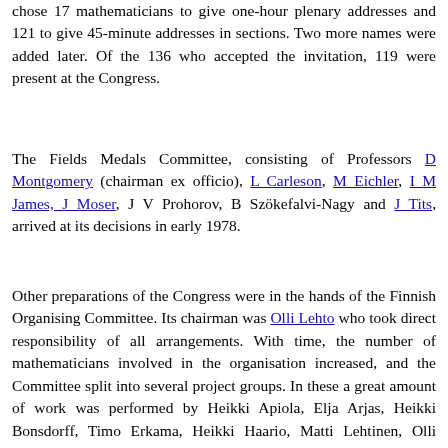chose 17 mathematicians to give one-hour plenary addresses and 121 to give 45-minute addresses in sections. Two more names were added later. Of the 136 who accepted the invitation, 119 were present at the Congress.
The Fields Medals Committee, consisting of Professors D Montgomery (chairman ex officio), L Carleson, M Eichler, I M James, J Moser, J V Prohorov, B Szökefalvi-Nagy and J Tits, arrived at its decisions in early 1978.
Other preparations of the Congress were in the hands of the Finnish Organising Committee. Its chairman was Olli Lehto who took direct responsibility of all arrangements. With time, the number of mathematicians involved in the organisation increased, and the Committee split into several project groups. In these a great amount of work was performed by Heikki Apiola, Elja Arjas, Heikki Bonsdorff, Timo Erkama, Heikki Haario, Matti Lehtinen, Olli Lokki, Ilppo Simo Louhivaara, Olli Martio, Marjatta Näätänen, Rolf Nevanlinna, Seppo Rickman, Arto Salomaa, Jukka Sarvas, Onerva Savolainen, and others. In all, about 100 Finnish mathematicians gave some assistance to the Congress. A lot of voluntary work was also done by the staff of the University of Helsinki. A small Congress Bureau with salaried staff was set up in late 1975. It expanded considerably during the half-year